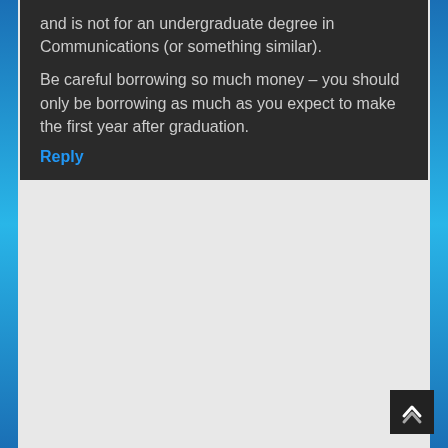and is not for an undergraduate degree in Communications (or something similar).
Be careful borrowing so much money – you should only be borrowing as much as you expect to make the first year after graduation.
Reply
Kevin APRIL 24, 2015
Hi Tim,
Thanks in advance for your help. You stated above…
"It's Coming to Everyone!
Pay As You Earn will be made available to everyone with Federal student loan debt. This change is already virtually